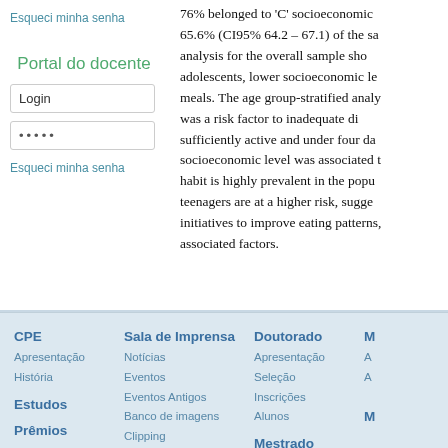Esqueci minha senha
Portal do docente
Login
•••••
Esqueci minha senha
76% belonged to 'C' socioeconomic... 65.6% (CI95% 64.2 – 67.1) of the sa... analysis for the overall sample sho... adolescents, lower socioeconomic le... meals. The age group-stratified analy... was a risk factor to inadequate di... sufficiently active and under four da... socioeconomic level was associated... habit is highly prevalent in the popu... teenagers are at a higher risk, sugge... initiatives to improve eating patterns,... associated factors.
CPE
Apresentação
História
Estudos
Prêmios
Sala de Imprensa
Notícias
Eventos
Eventos Antigos
Banco de imagens
Clipping
Newsletter
Doutorado
Apresentação
Seleção
Inscrições
Alunos
Mestrado
Apresentação
Disciplinas